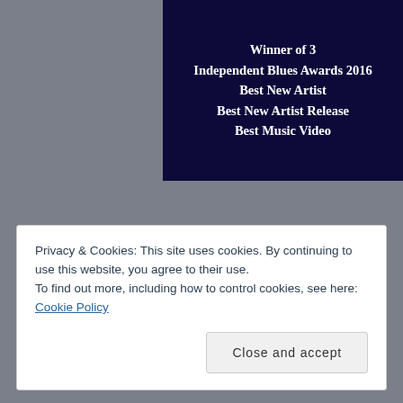[Figure (other): Dark navy blue banner image with white bold text listing award wins: Winner of 3 Independent Blues Awards 2016, Best New Artist, Best New Artist Release, Best Music Video]
Privacy & Cookies: This site uses cookies. By continuing to use this website, you agree to their use.
To find out more, including how to control cookies, see here: Cookie Policy
Close and accept